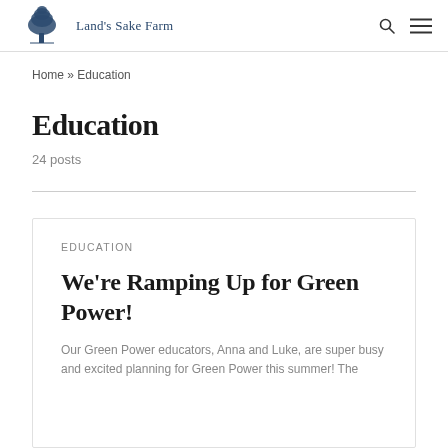Land's Sake Farm
Home » Education
Education
24 posts
EDUCATION
We're Ramping Up for Green Power!
Our Green Power educators, Anna and Luke, are super busy and excited planning for Green Power this summer! The